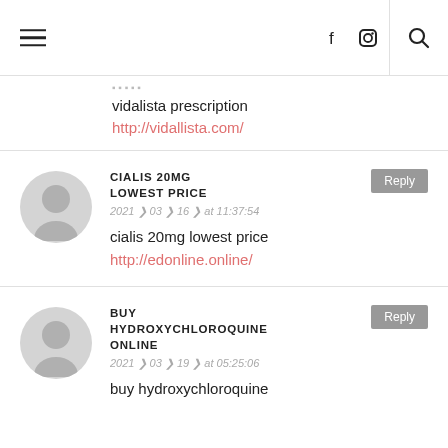Navigation header with hamburger menu, social icons (Facebook, Instagram), and search
vidalista prescription
http://vidallista.com/
CIALIS 20MG LOWEST PRICE
2021 ❯ 03 ❯ 16 ❯ at 11:37:54
cialis 20mg lowest price
http://edonline.online/
BUY HYDROXYCHLOROQUINE ONLINE
2021 ❯ 03 ❯ 19 ❯ at 05:25:06
buy hydroxychloroquine